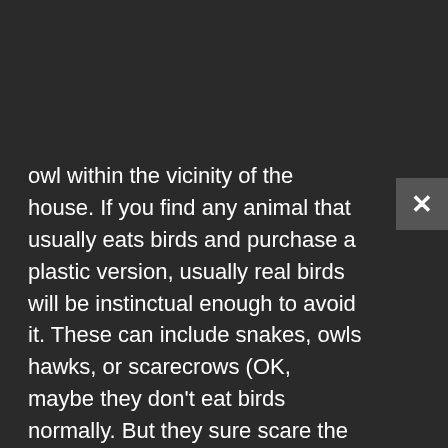owl within the vicinity of the house. If you find any animal that usually eats birds and purchase a plastic version, usually real birds will be instinctual enough to avoid it. These can include snakes, owls hawks, or scarecrows (OK, maybe they don't eat birds normally. But they sure scare the birds for some reason). Most of the time you can purchase these at your local gardening store. If you want a different version or a more lifelike representation, if you look online then you're sure to find something that will work.

If you get a plastic animal of some sort, usually it will cure the bird problem for a while. However, some birds are just really brave (or really stupid) and will continue to eat from your tree. Almost any reflective surface or noisy object